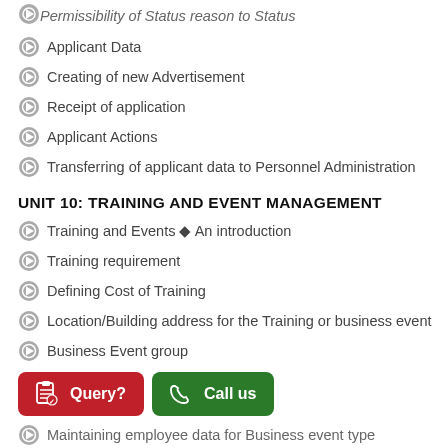Permissibility of Status reason to Status
Applicant Data
Creating of new Advertisement
Receipt of application
Applicant Actions
Transferring of applicant data to Personnel Administration
UNIT 10: TRAINING AND EVENT MANAGEMENT
Training and Events ◆ An introduction
Training requirement
Defining Cost of Training
Location/Building address for the Training or business event
Business Event group
[Figure (other): Two buttons: red Query? button with clipboard icon, green Call us button with phone icon]
Maintaining employee data for Business event type